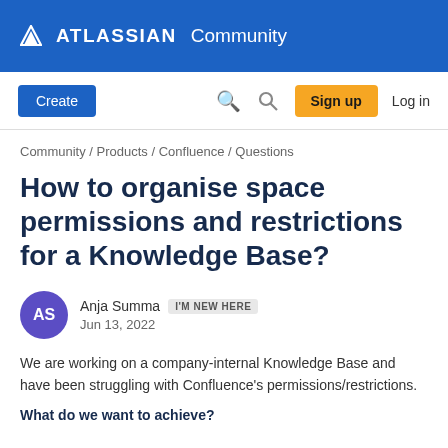ATLASSIAN Community
Create  Search  Sign up  Log in
Community / Products / Confluence / Questions
How to organise space permissions and restrictions for a Knowledge Base?
Anja Summa  I'M NEW HERE
Jun 13, 2022
We are working on a company-internal Knowledge Base and have been struggling with Confluence's permissions/restrictions.
What do we want to achieve?